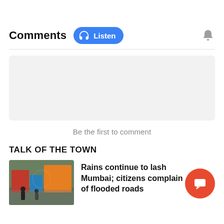Comments
Listen
Be the first to comment
TALK OF THE TOWN
Rains continue to lash Mumbai; citizens complain of flooded roads